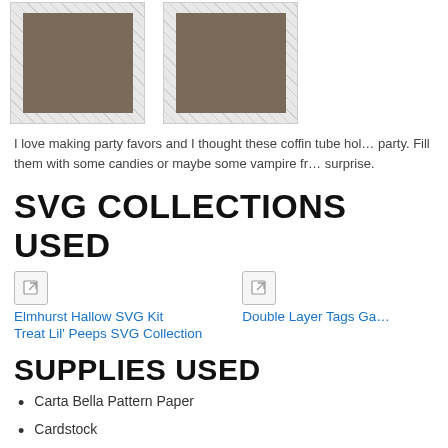[Figure (photo): Two photos of Halloween coffin tube holder paper crafts, side by side, showing decorated figures in grass]
I love making party favors and I thought these coffin tube holders would be perfect for a Halloween party. Fill them with some candies or maybe some vampire fangs for a fun surprise.
SVG COLLECTIONS USED
[Figure (illustration): Link icon box for Elmhurst Hallow SVG Kit]
Elmhurst Hallow SVG Kit     Double Layer Tags Ga...
Treat Lil' Peeps SVG Collection
SUPPLIES USED
Carta Bella Pattern Paper
Cardstock
Pop Dots